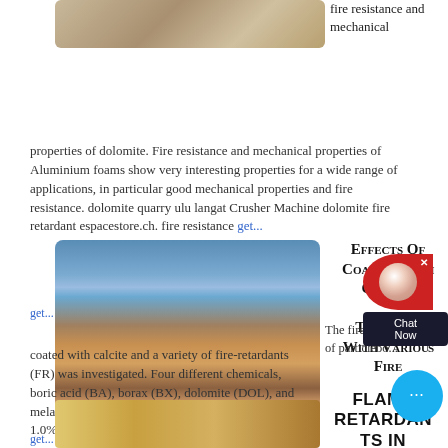[Figure (photo): Quarry/construction machinery equipment photo at top]
fire resistance and mechanical properties of dolomite. Fire resistance and mechanical properties of Aluminium foams show very interesting properties for a wide range of applications, in particular good mechanical properties and fire resistance. dolomite quarry ulu langat Crusher Machine dolomite fire retardant espacestore.ch. fire resistance get...
[Figure (photo): Crusher machine / quarry site with large pile of crushed stone, blue sky]
Effects Of Coating With Calcite Together With Various Fire
The fire properties of particleboard coated with calcite and a variety of fire-retardants (FR) was investigated. Four different chemicals, boric acid (BA), borax (BX), dolomite (DOL), and melamine (MEL), were added at the concentration of 1.0%, 3.0%, and 5.0% by oven-dry weight of calcite.
[Figure (photo): Partial photo of quarry/excavation machinery at bottom]
FLAME RETARDANTS IN